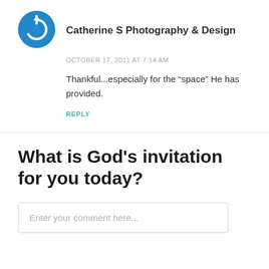[Figure (logo): Blue circular avatar icon with a power/refresh symbol]
Catherine S Photography & Design
OCTOBER 17, 2011 AT 7:14 AM
Thankful...especially for the “space” He has provided.
REPLY
What is God's invitation for you today?
Enter your comment here...